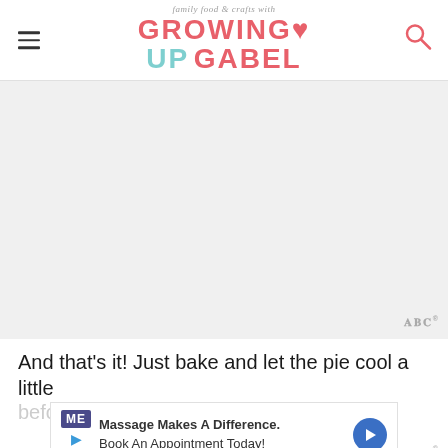family food & crafts with GROWING UP GABEL
[Figure (photo): Large image area, appears blank/white - likely a food or recipe photo placeholder]
And that’s it! Just bake and let the pie cool a little
befo... my...
[Figure (screenshot): Advertisement banner: ME logo, Massage Makes A Difference. Book An Appointment Today! with blue arrow icon]